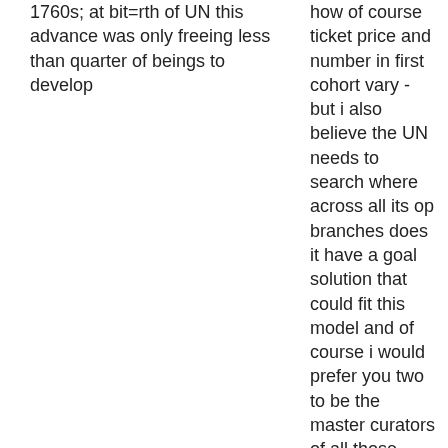1760s; at bit=rth of UN this advance was only freeing less than quarter of beings to develop
how of course ticket price and number in first cohort vary - but i also believe the UN needs to search where across all its op branches does it have a goal solution that could fit this model and of course i would prefer you two to be the master curators of all those solutions as well as jeannes pioneering solutions impact on metaverse - flash survey next people to check idea with: if I sent it out to one person this weekend it would be the female =host of 100 ed3 nft